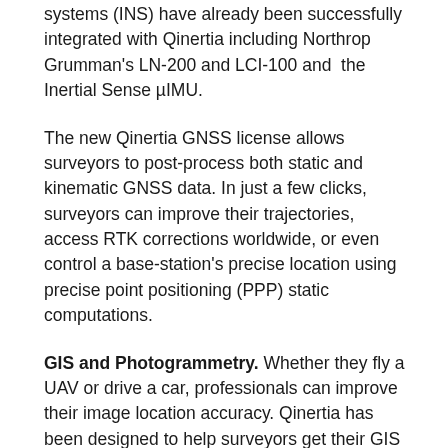systems (INS) have already been successfully integrated with Qinertia including Northrop Grumman's LN-200 and LCI-100 and the Inertial Sense µIMU.
The new Qinertia GNSS license allows surveyors to post-process both static and kinematic GNSS data. In just a few clicks, surveyors can improve their trajectories, access RTK corrections worldwide, or even control a base-station's precise location using precise point positioning (PPP) static computations.
GIS and Photogrammetry. Whether they fly a UAV or drive a car, professionals can improve their image location accuracy. Qinertia has been designed to help surveyors get their GIS or photogrammetry projects way more precise, by exporting a centimetric position for each picture at the exact shutter event.